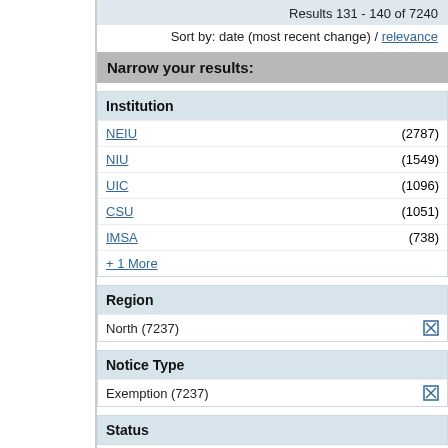Results 131 - 140 of 7240
Sort by: date (most recent change) / relevance
Narrow your results:
Institution
NEIU (2787)
NIU (1549)
UIC (1096)
CSU (1051)
IMSA (738)
+ 1 More
Region
North (7237)
Notice Type
Exemption (7237)
Status